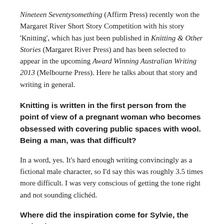Nineteen Seventysomething (Affirm Press) recently won the Margaret River Short Story Competition with his story 'Knitting', which has just been published in Knitting & Other Stories (Margaret River Press) and has been selected to appear in the upcoming Award Winning Australian Writing 2013 (Melbourne Press). Here he talks about that story and writing in general.
Knitting is written in the first person from the point of view of a pregnant woman who becomes obsessed with covering public spaces with wool. Being a man, was that difficult?
In a word, yes. It's hard enough writing convincingly as a fictional male character, so I'd say this was roughly 3.5 times more difficult. I was very conscious of getting the tone right and not sounding clichéd.
Where did the inspiration come for Sylvie, the main character?